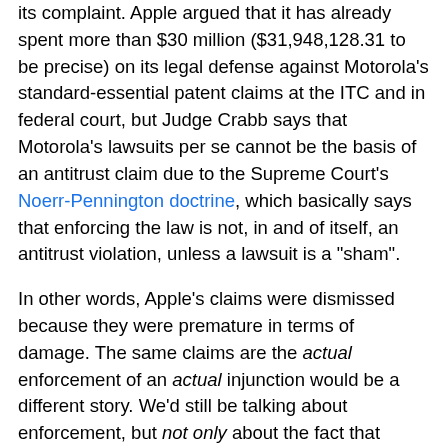its complaint. Apple argued that it has already spent more than $30 million ($31,948,128.31 to be precise) on its legal defense against Motorola's standard-essential patent claims at the ITC and in federal court, but Judge Crabb says that Motorola's lawsuits per se cannot be the basis of an antitrust claim due to the Supreme Court's Noerr-Pennington doctrine, which basically says that enforcing the law is not, in and of itself, an antitrust violation, unless a lawsuit is a "sham".
In other words, Apple's claims were dismissed because they were premature in terms of damage. The same claims are the actual enforcement of an actual injunction would be a different story. We'd still be talking about enforcement, but not only about the fact that Motorola brought litigation.
I did not see the Noerr-Pennington doctrine addressed in Judge Koh's order that largely upheld Apple's FRAND counterclaims against Samsung a few months ago. I wouldn't be surprised to see Samsung file a motion or a notice of judicial authority. Judge Koh actually considered the fact that Apple had incurred expenses to defend itself against Samsung's SEP assertions sufficient for the damages...